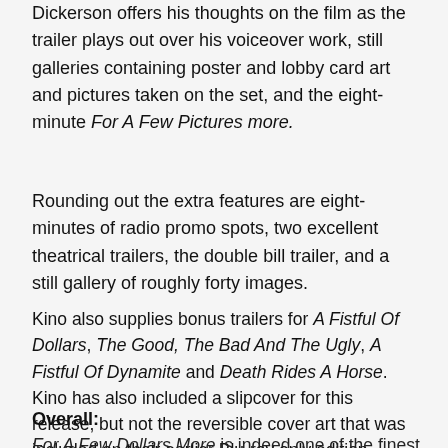Dickerson offers his thoughts on the film as the trailer plays out over his voiceover work, still galleries containing poster and lobby card art and pictures taken on the set, and the eight-minute For A Few Pictures more.
Rounding out the extra features are eight-minutes of radio promo spots, two excellent theatrical trailers, the double bill trailer, and a still gallery of roughly forty images.
Kino also supplies bonus trailers for A Fistful Of Dollars, The Good, The Bad And The Ugly, A Fistful Of Dynamite and Death Rides A Horse. Kino has also included a slipcover for this release, but not the reversible cover art that was included on their earlier Blu-ray only edition.
Overall:
For A Few Dollars More is indeed one of the finest westerns...